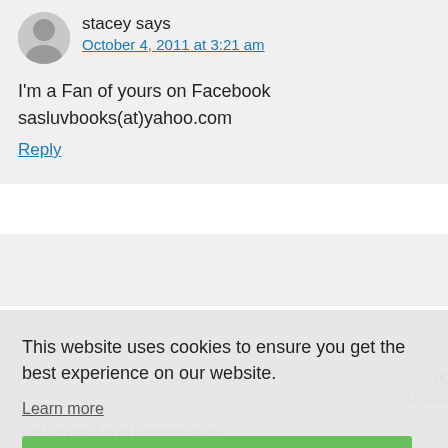stacey says
October 4, 2011 at 3:21 am
I'm a Fan of yours on Facebook
sasluvbooks(at)yahoo.com
Reply
This website uses cookies to ensure you get the best experience on our website.
Learn more
Got it!
sasluvbooks(at)yahoo.com